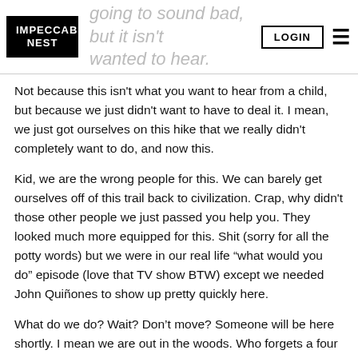IMPECCABLE NEST | going to sound bad, but it isn't what wanted to hear. | LOGIN
Not because this isn't what you want to hear from a child, but because we just didn't want to have to deal it. I mean, we just got ourselves on this hike that we really didn't completely want to do, and now this.
Kid, we are the wrong people for this. We can barely get ourselves off of this trail back to civilization. Crap, why didn't those other people we just passed you help you. They looked much more equipped for this. Shit (sorry for all the potty words) but we were in our real life “what would you do” episode (love that TV show BTW) except we needed John Quiñones to show up pretty quickly here.
What do we do? Wait? Don’t move? Someone will be here shortly. I mean we are out in the woods. Who forgets a four year old in the woods? Who leaves little Nate in the woods? Yes, we learned he was four. In preschool. His name was Nate. We had no last name to go on unless it really was Nathaniel like he told us. We were skeptical. Nate Nathaniel? Did not know his phone